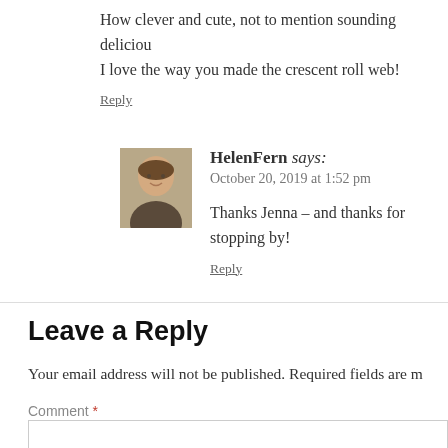How clever and cute, not to mention sounding delicious! I love the way you made the crescent roll web!
Reply
HelenFern says: October 20, 2019 at 1:52 pm
Thanks Jenna – and thanks for stopping by!
Reply
Leave a Reply
Your email address will not be published. Required fields are m
Comment *